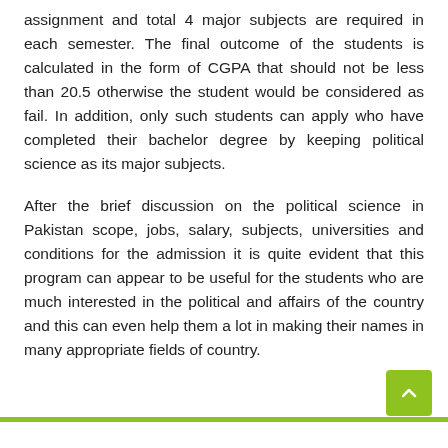assignment and total 4 major subjects are required in each semester. The final outcome of the students is calculated in the form of CGPA that should not be less than 20.5 otherwise the student would be considered as fail. In addition, only such students can apply who have completed their bachelor degree by keeping political science as its major subjects.
After the brief discussion on the political science in Pakistan scope, jobs, salary, subjects, universities and conditions for the admission it is quite evident that this program can appear to be useful for the students who are much interested in the political and affairs of the country and this can even help them a lot in making their names in many appropriate fields of country.